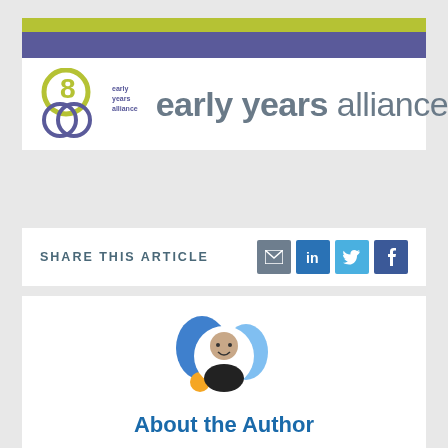[Figure (logo): Early Years Alliance logo with green and purple banner stripes, circular logo mark, and organisation name text]
SHARE THIS ARTICLE
[Figure (infographic): Social sharing icons: email (grey), LinkedIn (blue), Twitter (light blue), Facebook (dark blue)]
[Figure (photo): Circular author profile photo of a smiling man with beard, with decorative blue and orange accent shapes around it]
About the Author